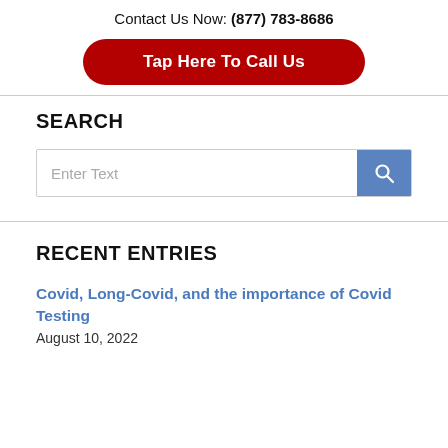Contact Us Now: (877) 783-8686
[Figure (other): Red rounded button with white bold text: Tap Here To Call Us]
SEARCH
[Figure (other): Search input box with placeholder 'Enter Text' and a blue search button with magnifying glass icon]
RECENT ENTRIES
Covid, Long-Covid, and the importance of Covid Testing
August 10, 2022